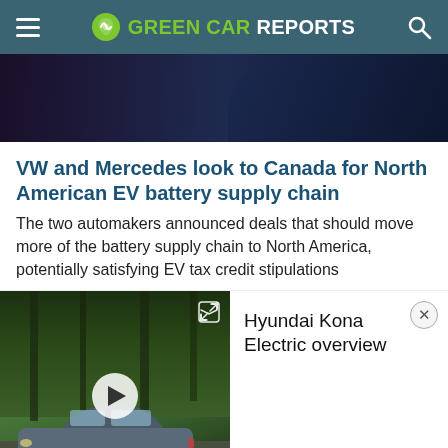GREEN CAR REPORTS
[Figure (photo): Dark blue/navy car detail photo, hero image at top of article]
VW and Mercedes look to Canada for North American EV battery supply chain
The two automakers announced deals that should move more of the battery supply chain to North America, potentially satisfying EV tax credit stipulations
[Figure (photo): Video thumbnail showing a grey Hyundai Kona Electric SUV driving through a forest road, with a play button overlay. Title reads: Hyundai Kona Electric overview]